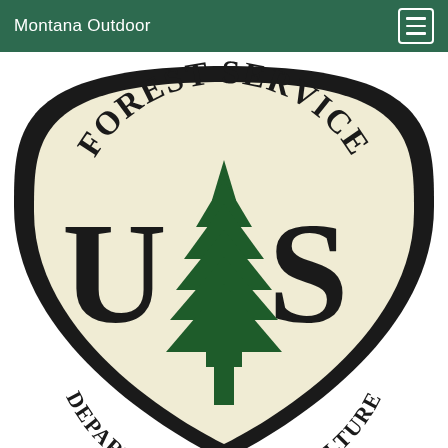Montana Outdoor
[Figure (logo): US Forest Service shield logo — cream/beige shield shape with thick black border, 'FOREST SERVICE' arched across the top in bold black serif text, large 'U' on the left and 'S' on the right in bold black serif letters, a green pine/fir tree in the center, and 'DEPARTMENT OF AGRICULTURE' curved along the bottom in bold black serif text.]